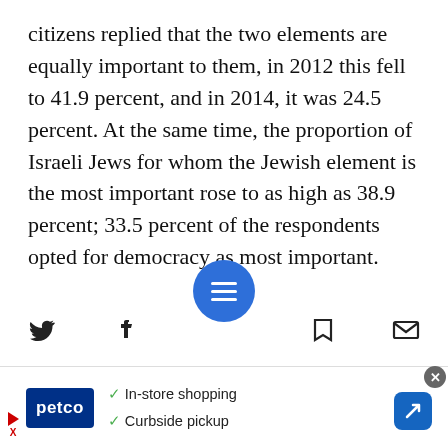citizens replied that the two elements are equally important to them, in 2012 this fell to 41.9 percent, and in 2014, it was 24.5 percent. At the same time, the proportion of Israeli Jews for whom the Jewish element is the most important rose to as high as 38.9 percent; 33.5 percent of the respondents opted for democracy as most important.
The story here is not only the fact that for so many, Judaism “outranks” democracy in importance, though … a disturbing
[Figure (screenshot): Mobile browser toolbar with Twitter, Facebook, hamburger menu (blue circle), bookmark, and email icons, plus a Petco advertisement banner at the bottom showing in-store shopping and curbside pickup options.]